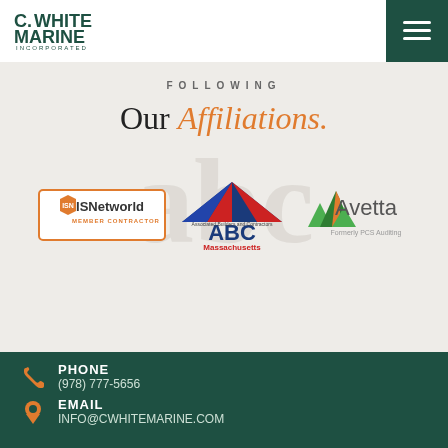[Figure (logo): C. White Marine Incorporated logo in dark green]
[Figure (other): Hamburger menu icon on dark green background]
FOLLOWING
Our Affiliations.
[Figure (logo): ISNetworld Member Contractor logo with orange hexagon badge]
[Figure (logo): ABC Associated Builders and Contractors Massachusetts logo with American flag roof motif]
[Figure (logo): Avetta logo with green mountain icon, formerly PCS Auditing]
PHONE
(978) 777-5656
EMAIL
INFO@CWHITEMARINE.COM